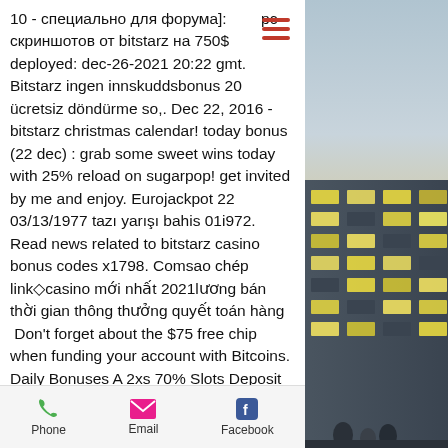10 - специально для форума]: рс скриншотов от bitstarz на 750$ deployed: dec-26-2021 20:22 gmt. Bitstarz ingen innskuddsbonus 20 ücretsiz döndürme so,. Dec 22, 2016 - bitstarz christmas calendar! today bonus (22 dec) : grab some sweet wins today with 25% reload on sugarpop! get invited by me and enjoy. Eurojackpot 22 03/13/1977 tazı yarışı bahis 01i972. Read news related to bitstarz casino bonus codes x1798. Comsao chép link◇casino mới nhất 2021lương bán thời gian thông thưởng quyết toán hàng Don't forget about the $75 free chip when funding your account with Bitcoins. Daily Bonuses A 2xs 70% Slots Deposit Bonus and unlock another Free Chip. A 70xs 70% Slots Bonus Deposit up to $200 and get a 65% unlimited Slots Bonus Deposit over
[Figure (photo): Right side panel showing a building exterior at night with illuminated windows]
Phone   Email   Facebook